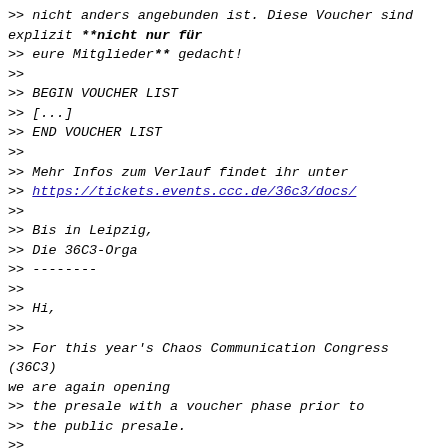>> nicht anders angebunden ist. Diese Voucher sind explizit **nicht nur für
>> eure Mitglieder** gedacht!
>>
>> BEGIN VOUCHER LIST
>> [...]
>> END VOUCHER LIST
>>
>> Mehr Infos zum Verlauf findet ihr unter
>> https://tickets.events.ccc.de/36c3/docs/
>>
>> Bis in Leipzig,
>> Die 36C3-Orga
>> --------
>>
>> Hi,
>>
>> For this year's Chaos Communication Congress (36C3) we are again opening
>> the presale with a voucher phase prior to
>> the public presale.
>>
>> As a group (Cryptoparty) that has participated in last year's Congress,
>> we're sending you a list of vouchers that can be used to buy tickets at
>> http://tickets.events.ccc.de starting on **October 21st, 18:00 CET**.
>>
>> The vouchers are replicating: During checkout, you